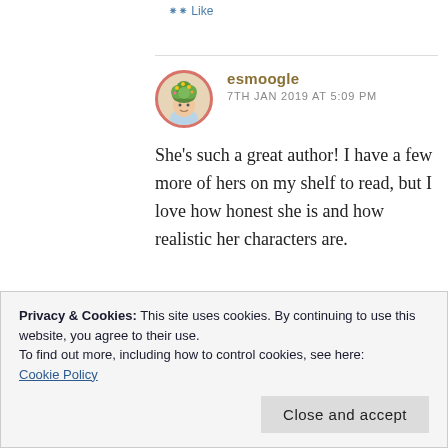Like
esmoogle
7TH JAN 2019 AT 5:09 PM
She's such a great author! I have a few more of hers on my shelf to read, but I love how honest she is and how realistic her characters are.
Privacy & Cookies: This site uses cookies. By continuing to use this website, you agree to their use.
To find out more, including how to control cookies, see here:
Cookie Policy
Close and accept